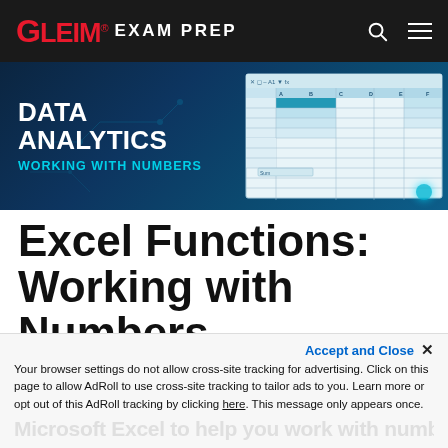GLEIM® EXAM PREP
[Figure (illustration): Data Analytics: Working with Numbers banner showing spreadsheet graphic on dark blue background]
Excel Functions: Working with Numbers
MAY 7, 2021   CIA, CMA, CPA
Accept and Close ✕
Your browser settings do not allow cross-site tracking for advertising. Click on this page to allow AdRoll to use cross-site tracking to tailor ads to you. Learn more or opt out of this AdRoll tracking by clicking here. This message only appears once.
Microsoft Excel to help you work with numbers